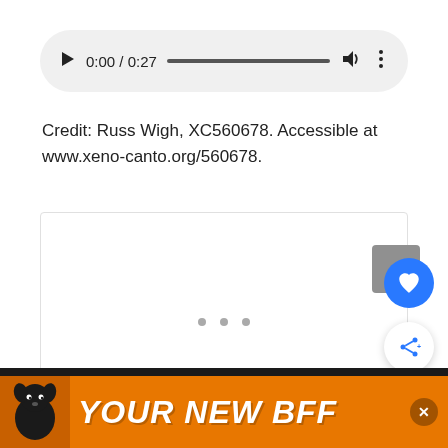[Figure (screenshot): Audio player widget showing 0:00 / 0:27 with progress bar, volume and more icons on a light gray rounded pill background]
Credit: Russ Wigh, XC560678. Accessible at www.xeno-canto.org/560678.
[Figure (other): White content/image area with light border, three scroll indicator dots at bottom, scroll-to-top button (gray), heart/favorite button (blue circle), share button (white circle with blue icon)]
[Figure (other): Orange advertisement banner at bottom reading YOUR NEW BFF with a dog image on the left and a close button]